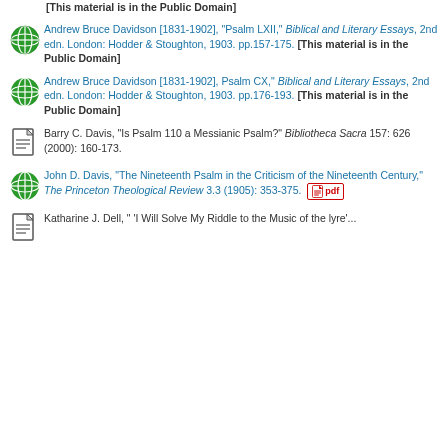[This material is in the Public Domain]
Andrew Bruce Davidson [1831-1902], "Psalm LXII," Biblical and Literary Essays, 2nd edn. London: Hodder & Stoughton, 1903. pp.157-175. [This material is in the Public Domain]
Andrew Bruce Davidson [1831-1902], Psalm CX," Biblical and Literary Essays, 2nd edn. London: Hodder & Stoughton, 1903. pp.176-193. [This material is in the Public Domain]
Barry C. Davis, "Is Psalm 110 a Messianic Psalm?" Bibliotheca Sacra 157: 626 (2000): 160-173.
John D. Davis, "The Nineteenth Psalm in the Criticism of the Nineteenth Century," The Princeton Theological Review 3.3 (1905): 353-375. [pdf]
Katharine J. Dell, " 'I Will Solve My Riddle to the Music of the Lyre'...